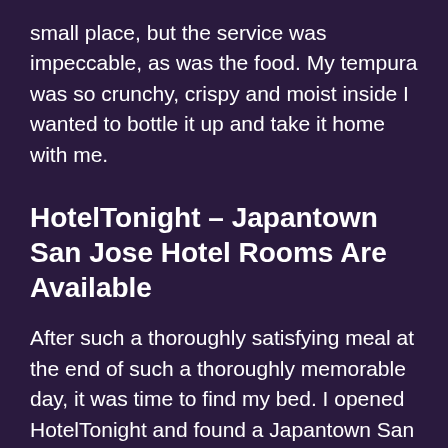small place, but the service was impeccable, as was the food. My tempura was so crunchy, crispy and moist inside I wanted to bottle it up and take it home with me.
HotelTonight – Japantown San Jose Hotel Rooms Are Available
After such a thoroughly satisfying meal at the end of such a thoroughly memorable day, it was time to find my bed. I opened HotelTonight and found a Japantown San Jose hotel room instantly, and it was only a couple of blocks away. With my room booked, all that was left was the very short journey to a bed that would provide me with a very long and happy night of sleep.